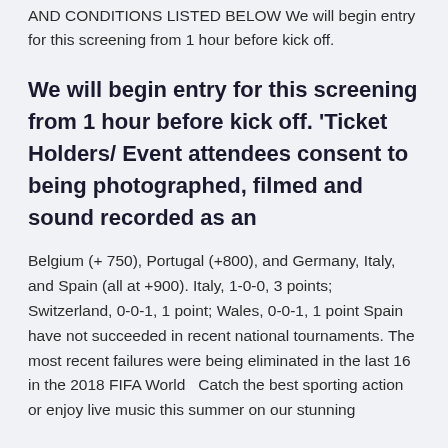AND CONDITIONS LISTED BELOW  We will begin entry for this screening from 1 hour before kick off.
We will begin entry for this screening from 1 hour before kick off. 'Ticket Holders/ Event attendees consent to being photographed, filmed and sound recorded as an
Belgium (+ 750), Portugal (+800), and Germany, Italy, and Spain (all at +900). Italy, 1-0-0, 3 points; Switzerland, 0-0-1, 1 point; Wales, 0-0-1, 1 point Spain have not succeeded in recent national tournaments. The most recent failures were being eliminated in the last 16 in the 2018 FIFA World  Catch the best sporting action or enjoy live music this summer on our stunning